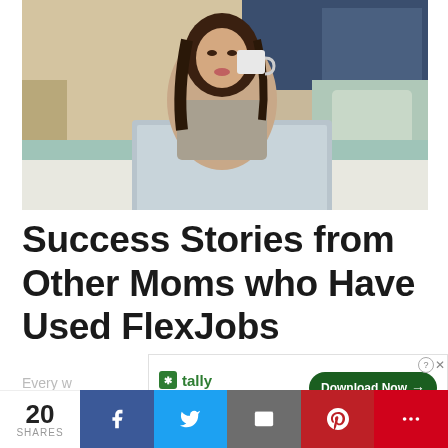[Figure (photo): Woman sitting on a bed with a laptop, drinking from a white mug, with pillows in the background]
Success Stories from Other Moms who Have Used FlexJobs
Every w... have b...
[Figure (infographic): Tally advertisement banner: 'Fast credit card payoff' with a Download Now button]
[Figure (infographic): Social share bar showing 20 SHARES with buttons for Facebook, Twitter, Email, Pinterest, and More]